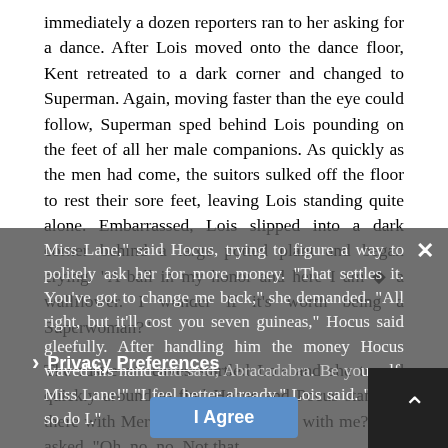immediately a dozen reporters ran to her asking for a dance. After Lois moved onto the dance floor, Kent retreated to a dark corner and changed to Superman. Again, moving faster than the eye could follow, Superman sped behind Lois pounding on the feet of all her male companions. As quickly as the men had come, the suitors sulked off the floor to rest their sore feet, leaving Lois standing quite alone. Embarrassed, Lois slipped into a dark corner behind a large potted plant and began crying. "A ball in my honor and here I am ◆ a wallflower. I wonder if it's worth being a Superwoman?"
The rustle of leaves startled Lois and she turned quickly around to find Hocus and Pocus standing there with Merton. "Will you dance with me?" she asked. "Oh, no, no. Not that, Miss Lane," said Hocus, trying to figure a way to politely ask her for more money. "That settles it. You've got to change me back," she demanded. "All right, but it'll cost you seven guineas," Hocus said gleefully. After handling him the money Hocus waved his hand and said, Abracadabra. Be yourself, Miss Lane!" "I feel better already," Lois said. "And, so do I."
[Figure (other): Privacy preferences overlay with close button (×), overlay text continuing the story paragraph, a chevron (›) followed by 'Privacy Preferences' link, an 'I Agree' button, and a dark square with an upward arrow in the bottom-right corner.]